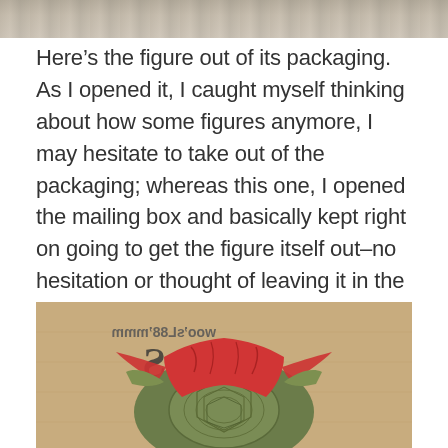[Figure (photo): Top portion of a partially visible photo, showing a rocky or gravelly outdoor surface.]
Here’s the figure out of its packaging. As I opened it, I caught myself thinking about how some figures anymore, I may hesitate to take out of the packaging; whereas this one, I opened the mailing box and basically kept right on going to get the figure itself out–no hesitation or thought of leaving it in the box for display or such! My intent for getting the figure was/is to have it “loose” and displayable!
[Figure (photo): Close-up photo of a Teenage Mutant Ninja Turtle figure (Raphael) showing the back of the shell with a red cloth mask/bandana visible, placed against a cardboard box background with partial text 'www.bbts.com'.]